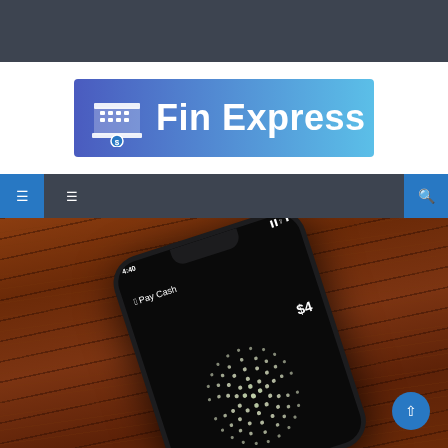[Figure (logo): Fin Express logo banner with gradient blue background, building/bank icon on left, text 'Fin Express' in white on right]
[Figure (photo): Photograph of an iPhone X showing Apple Pay Cash app with $4 balance, resting on a wooden surface at an angle]